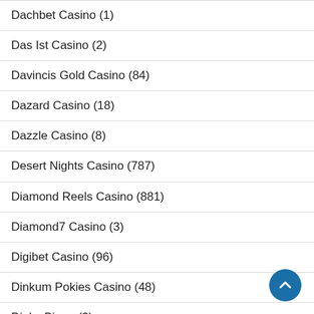Dachbet Casino (1)
Das Ist Casino (2)
Davincis Gold Casino (84)
Dazard Casino (18)
Dazzle Casino (8)
Desert Nights Casino (787)
Diamond Reels Casino (881)
Diamond7 Casino (3)
Digibet Casino (96)
Dinkum Pokies Casino (48)
Dinky Bingo (3)
Dinospin Casino (62)
DitoBet Casino (7)
Divas Luck Casino (1)
Divine Slots Casino (1)